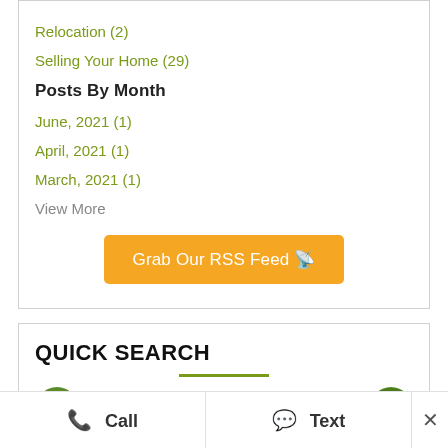Relocation  (2)
Selling Your Home  (29)
Posts By Month
June, 2021  (1)
April, 2021  (1)
March, 2021  (1)
View More
[Figure (other): Orange button: Grab Our RSS Feed with RSS icon]
QUICK SEARCH
[Figure (other): Quick Search section with green icons and partial text visible at bottom]
Call
Text